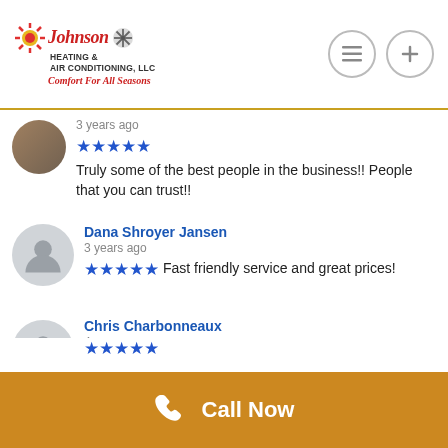Johnson Heating & Air Conditioning, LLC — Comfort For All Seasons
3 years ago
★★★★★ Truly some of the best people in the business!! People that you can trust!!
Dana Shroyer Jansen
3 years ago
★★★★★ Fast friendly service and great prices!
Chris Charbonneaux
4 years ago
★★★★★ Great folks to work with. Pleasant person at the office and very polite and professional repair/install crew.
Larry-Rose Fitzgerald
4 years ago
Call Now